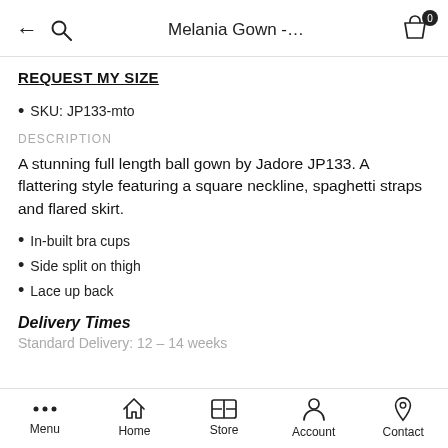Melania Gown -…
REQUEST MY SIZE
SKU: JP133-mto
DESCRIPTION
A stunning full length ball gown by Jadore JP133. A flattering style featuring a square neckline, spaghetti straps and flared skirt.
In-built bra cups
Side split on thigh
Lace up back
Delivery Times
Standard Delivery: 12 – 14 weeks
Menu  Home  Store  Account  Contact